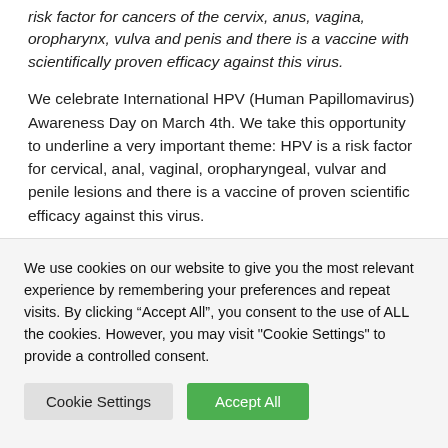risk factor for cancers of the cervix, anus, vagina, oropharynx, vulva and penis and there is a vaccine with scientifically proven efficacy against this virus.
We celebrate International HPV (Human Papillomavirus) Awareness Day on March 4th. We take this opportunity to underline a very important theme: HPV is a risk factor for cervical, anal, vaginal, oropharyngeal, vulvar and penile lesions and there is a vaccine of proven scientific efficacy against this virus.
“Despite the availability of an HPV vaccine in the public
We use cookies on our website to give you the most relevant experience by remembering your preferences and repeat visits. By clicking “Accept All”, you consent to the use of ALL the cookies. However, you may visit "Cookie Settings" to provide a controlled consent.